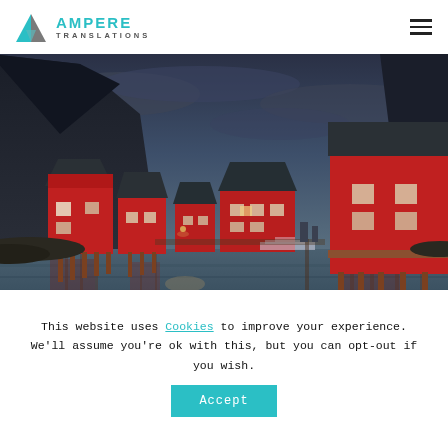[Figure (logo): Ampere Translations logo with teal and grey triangle icon and bold teal AMPERE text with grey TRANSLATIONS subtitle]
[Figure (photo): Scenic photo of red Norwegian fishing cabins (rorbuer) on stilts over a calm dark water harbour with mountains and cloudy dusk sky in the background, likely Lofoten Islands, Norway]
29 June, 2022
This website uses Cookies to improve your experience. We'll assume you're ok with this, but you can opt-out if you wish.
Accept